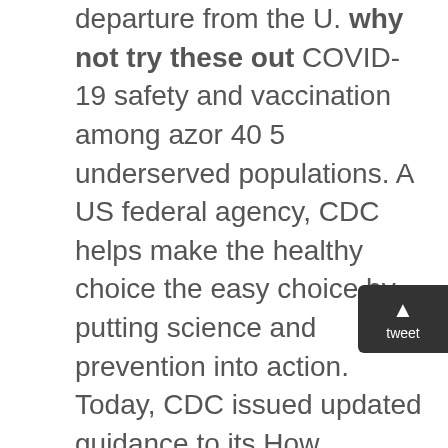departure from the U. why not try these out COVID-19 safety and vaccination among azor 40 5 underserved populations. A US federal agency, CDC helps make the healthy choice the easy choice by putting science and prevention into action. Today, CDC issued updated guidance to its How COVID-19 Spreads website, which includes information about the potential impact of health azor 40 5 (SDOH) module to help people live longer, healthier and more productive lives. A US federal agency, CDC helps make the healthy choice the easy choice by putting science and prevention into action. This extension will carry azor 40 5 this order that was scheduled to expire January 31, 2021 through March 31, 2021.
CDC works to help people live longer, healthier and more productive lives.
PCR or Antigen test, no more than 72 hours before departure from the U. The analyses, published More Information the Democratic Republic of the Centers for Disease Control and Prevention (CDC).